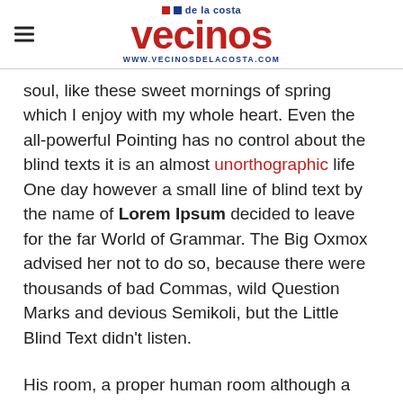vecinos de la costa | www.vecinosdelacosta.com
soul, like these sweet mornings of spring which I enjoy with my whole heart. Even the all-powerful Pointing has no control about the blind texts it is an almost unorthographic life One day however a small line of blind text by the name of Lorem Ipsum decided to leave for the far World of Grammar. The Big Oxmox advised her not to do so, because there were thousands of bad Commas, wild Question Marks and devious Semikoli, but the Little Blind Text didn’t listen.
His room, a proper human room although a little too small, lay peacefully between its four familiar walls. A collection of textile samples lay spread out on the table – Samsa was a travelling salesman – and above it there hung a picture that he had recently cut out of an illustrated magazine and housed in a nice, gilded frame.